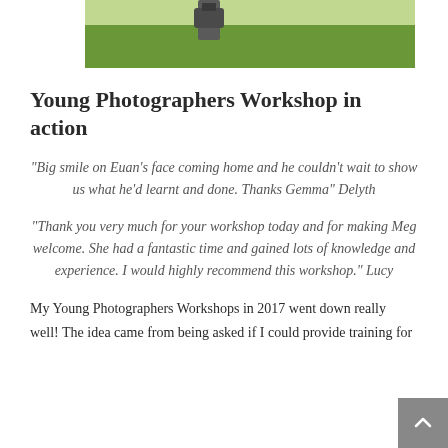[Figure (photo): Green grass outdoor photo strip at the top of the page, with a partially visible camera or similar object in the center]
Young Photographers Workshop in action
"Big smile on Euan's face coming home and he couldn't wait to show us what he'd learnt and done. Thanks Gemma" Delyth
"Thank you very much for your workshop today and for making Meg welcome. She had a fantastic time and gained lots of knowledge and experience. I would highly recommend this workshop." Lucy
My Young Photographers Workshops in 2017 went down really well! The idea came from being asked if I could provide training for